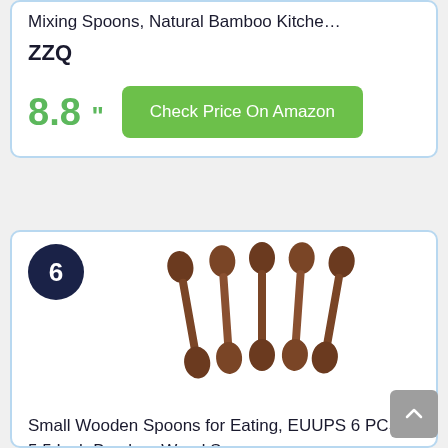Mixing Spoons, Natural Bamboo Kitche...
ZZQ
8.8 "
Check Price On Amazon
6
[Figure (photo): Six small brown wooden/bamboo spoons arranged in a fan pattern, viewed from above, with round bowl shapes.]
Small Wooden Spoons for Eating, EUUPS 6 PCS 5.5 Inch Bamboo Wood Spoons